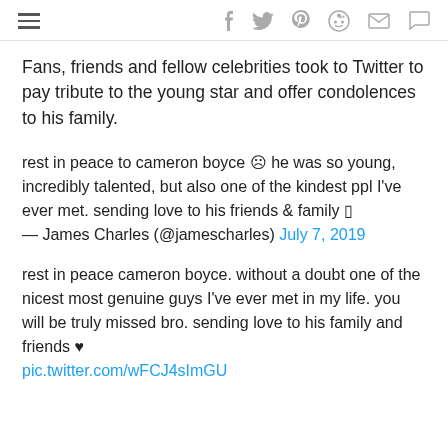☰ [social share icons: facebook, twitter, pinterest, reddit, mail, comment]
Fans, friends and fellow celebrities took to Twitter to pay tribute to the young star and offer condolences to his family.
rest in peace to cameron boyce ☹ he was so young, incredibly talented, but also one of the kindest ppl I've ever met. sending love to his friends & family 🏴
— James Charles (@jamescharles) July 7, 2019
rest in peace cameron boyce. without a doubt one of the nicest most genuine guys I've ever met in my life. you will be truly missed bro. sending love to his family and friends ♥
pic.twitter.com/wFCJ4sImGU